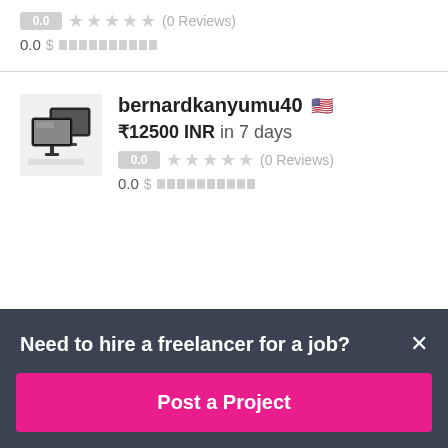0.0 ★★★★★ (0 Reviews)
0.0 $ ██████████
bernardkanyumu40 🇺🇸
₹12500 INR in 7 days
0.0 ★★★★★ (0 Reviews)
0.0 $ ██████████
Need to hire a freelancer for a job?
Post a Project